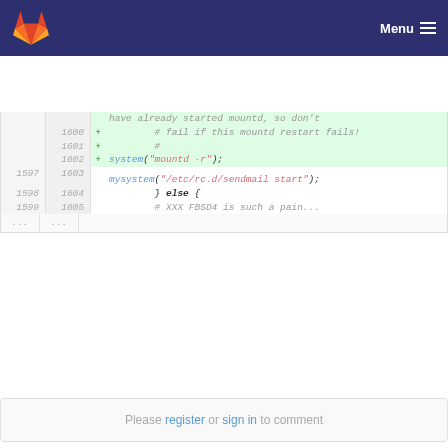GitLab — Menu
[Figure (screenshot): Code diff view showing added lines 1600-1602 with green highlight and context lines 1597-1605 including mysystem sendmail start, else block, and XXX FBSD4 comment]
Please register or sign in to comment